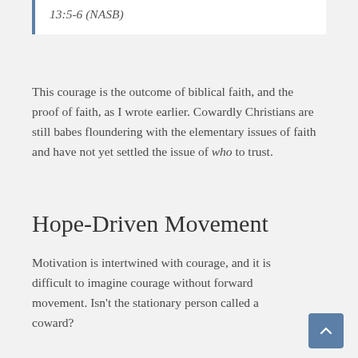13:5-6 (NASB)
This courage is the outcome of biblical faith, and the proof of faith, as I wrote earlier. Cowardly Christians are still babes floundering with the elementary issues of faith and have not yet settled the issue of who to trust.
Hope-Driven Movement
Motivation is intertwined with courage, and it is difficult to imagine courage without forward movement. Isn’t the stationary person called a coward?